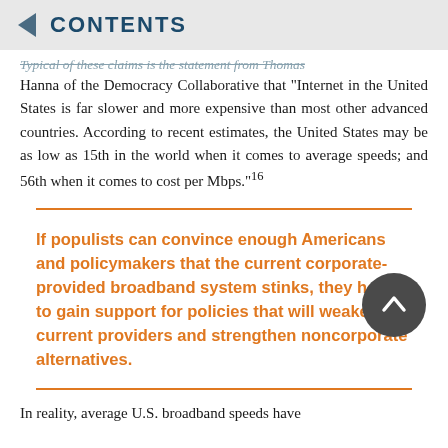CONTENTS
Typical of these claims is the statement from Thomas Hanna of the Democracy Collaborative that “Internet in the United States is far slower and more expensive than most other advanced countries. According to recent estimates, the United States may be as low as 15th in the world when it comes to average speeds; and 56th when it comes to cost per Mbps.”¹16
If populists can convince enough Americans and policymakers that the current corporate-provided broadband system stinks, they hope to gain support for policies that will weaken current providers and strengthen noncorporate alternatives.
In reality, average U.S. broadband speeds have